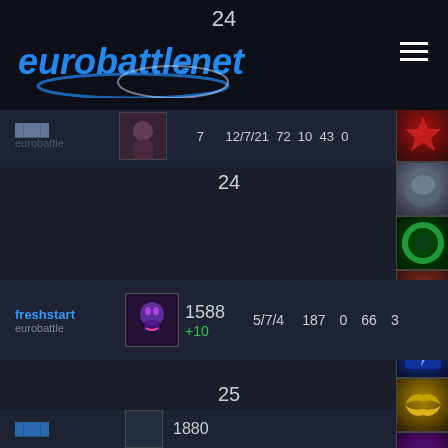24
[Figure (logo): eurobattle.net logo with blue italic text and swoosh arc]
12/7/21  72  10  43  0
eurobattle
24
freshstart
eurobattle
1588 +10
5/7/4  187  0  66  3
25
1880